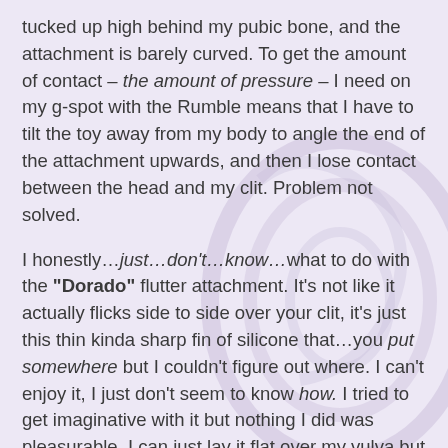tucked up high behind my pubic bone, and the attachment is barely curved. To get the amount of contact – the amount of pressure – I need on my g-spot with the Rumble means that I have to tilt the toy away from my body to angle the end of the attachment upwards, and then I lose contact between the head and my clit. Problem not solved.
I honestly…just…don't…know…what to do with the "Dorado" flutter attachment. It's not like it actually flicks side to side over your clit, it's just this thin kinda sharp fin of silicone that…you put somewhere but I couldn't figure out where. I can't enjoy it, I just don't seem to know how. I tried to get imaginative with it but nothing I did was pleasurable. I can just lay it flat over my vulva but that is 100% not how I orgasm. Ever. With anything.